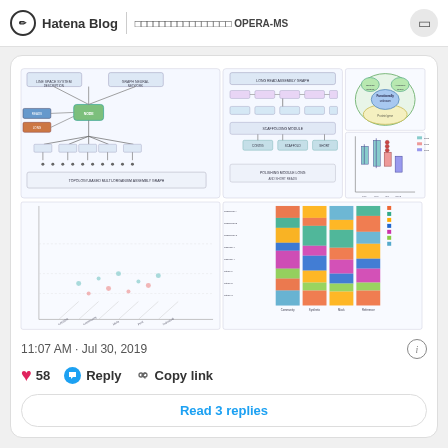Hatena Blog | □□□□□□□□□□□□□□□□ OPERA-MS
[Figure (infographic): Scientific figure showing OPERA-MS workflow diagrams, flowcharts, network graphs, box plots, scatter plots, and stacked bar charts related to metagenomic analysis pipeline.]
11:07 AM · Jul 30, 2019
♥ 58  Reply  Copy link
Read 3 replies